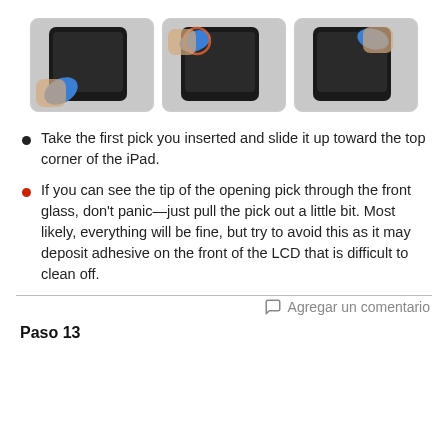[Figure (photo): Three photos showing hands using a blue opening pick to slide along the edge of an iPad tablet, progressively moving from the bottom corner toward the top corner.]
Take the first pick you inserted and slide it up toward the top corner of the iPad.
If you can see the tip of the opening pick through the front glass, don't panic—just pull the pick out a little bit. Most likely, everything will be fine, but try to avoid this as it may deposit adhesive on the front of the LCD that is difficult to clean off.
Agregar un comentario
Paso 13